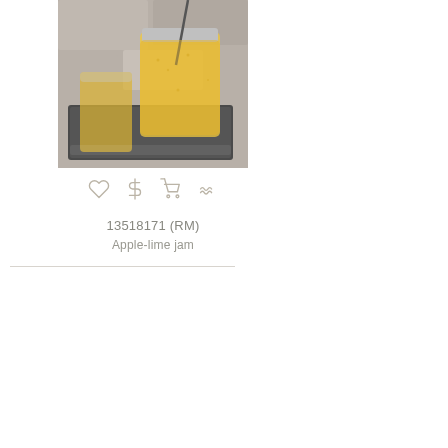[Figure (photo): Apple-lime jam in a mason jar and glass on a tray]
13518171 (RM)
Apple-lime jam